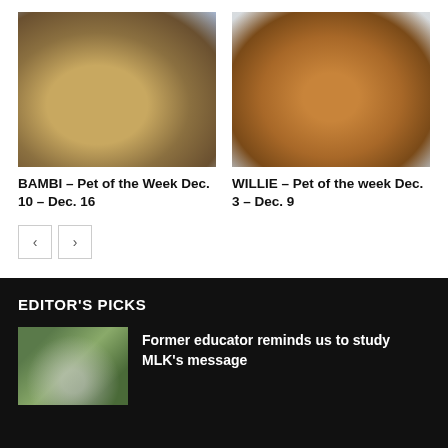[Figure (photo): Photo of Bambi, a brown/tan dog lying on a blue mottled background, wearing a pink collar]
[Figure (photo): Photo of Willie, a small tan/brown Chihuahua-type dog standing and wearing an orange bandana, on a light background]
BAMBI – Pet of the Week Dec. 10 – Dec. 16
WILLIE – Pet of the week Dec. 3 – Dec. 9
EDITOR'S PICKS
[Figure (photo): Small thumbnail photo of a person outdoors near white structures, green background]
Former educator reminds us to study MLK's message